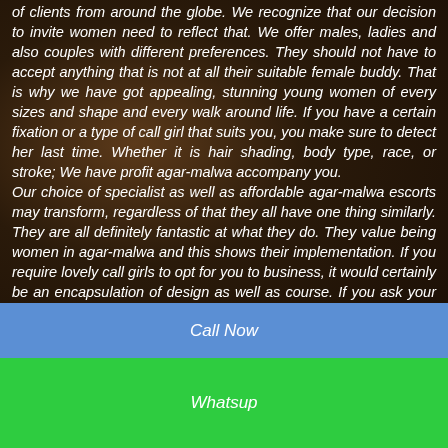of clients from around the globe. We recognize that our decision to invite women need to reflect that. We offer males, ladies and also couples with different preferences. They should not have to accept anything that is not at all their suitable female buddy. That is why we have got appealing, stunning young women of every sizes and shape and every walk around life. If you have a certain fixation or a type of call girl that suits you, you make sure to detect her last time. Whether it is hair shading, body type, race, or stroke; We have profit agar-malwa accompany you. Our choice of specialist as well as affordable agar-malwa escorts may transform, regardless of that they all have one thing similarly. They are all definitely fantastic at what they do. They value being women in agar-malwa and this shows their implementation. If you require lovely call girls to opt for you to business, it would certainly be an encapsulation of design as well as course. If you ask your enthusiast to be wild as
Call Now
Whatsup